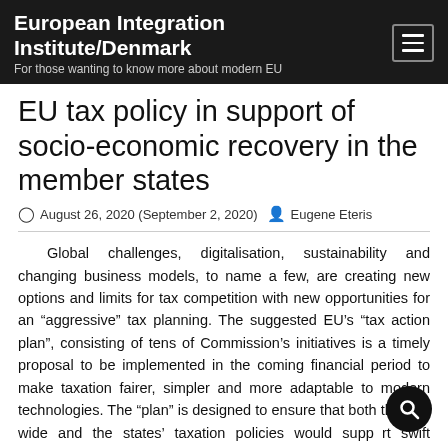European Integration Institute/Denmark
For those wanting to know more about modern EU
EU tax policy in support of socio-economic recovery in the member states
August 26, 2020 (September 2, 2020)  Eugene Eteris
Global challenges, digitalisation, sustainability and changing business models, to name a few, are creating new options and limits for tax competition with new opportunities for an “aggressive” tax planning. The suggested EU’s “tax action plan”, consisting of tens of Commission’s initiatives is a timely proposal to be implemented in the coming financial period to make taxation fairer, simpler and more adaptable to modern technologies. The “plan” is designed to ensure that both the EU-wide and the states’ taxation policies would support swift economic recovery and provide for sufficient public